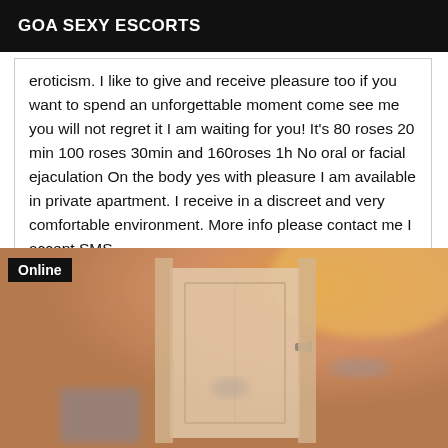GOA SEXY ESCORTS
eroticism. I like to give and receive pleasure too if you want to spend an unforgettable moment come see me you will not regret it I am waiting for you! It's 80 roses 20 min 100 roses 30min and 160roses 1h No oral or facial ejaculation On the body yes with pleasure I am available in private apartment. I receive in a discreet and very comfortable environment. More info please contact me I accept SMS
[Figure (photo): Blurry interior photo showing a room with a door, warm ambient lighting with orange/yellow tones, with an 'Online' badge overlay in the top-left corner.]